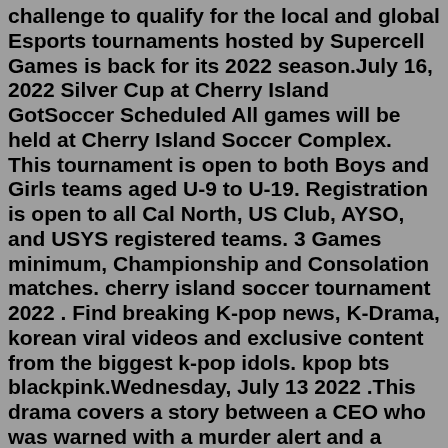challenge to qualify for the local and global Esports tournaments hosted by Supercell Games is back for its 2022 season.July 16, 2022 Silver Cup at Cherry Island GotSoccer Scheduled All games will be held at Cherry Island Soccer Complex. This tournament is open to both Boys and Girls teams aged U-9 to U-19. Registration is open to all Cal North, US Club, AYSO, and USYS registered teams. 3 Games minimum, Championship and Consolation matches. cherry island soccer tournament 2022 . Find breaking K-pop news, K-Drama, korean viral videos and exclusive content from the biggest k-pop idols. kpop bts blackpink.Wednesday, July 13 2022 .This drama covers a story between a CEO who was warned with a murder alert and a secretary who doesn't really have a presence but was recently alerted that she will pass away soon.A list of all the holidays and observances in August 2022. Calendar days include National Girlfriend Day, National Dog Day, Women's Equality Day, and many more.TOURNAMENTS . La Roca Cup; WINTER PROGRAMS. Winter Leagues at La